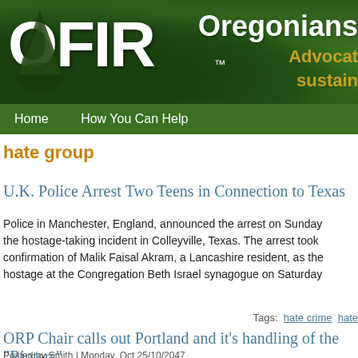[Figure (logo): OFIR website header banner with forest/trees background showing logo text 'OFIR' with a tree graphic, TM mark, and 'Oregonians' organization name with tagline 'Advocat... sustain...' in gold text]
Home   How You Can Help
hate group
U.K. Police Arrest Two Teens in Connection to Texas...
Police in Manchester, England, announced the arrest on Sunday... the hostage-taking incident in Colleyville, Texas. The arrest took... confirmation of Malik Faisal Akram, a Lancashire resident, as the... hostage at the Congregation Beth Israel synagogue on Saturday...
Tags: hate crime   hate...
ORP Chair calls out Portland and it's handling of the... Rioters"
Posted by Smith | Monday, Oct 25/10/2047...